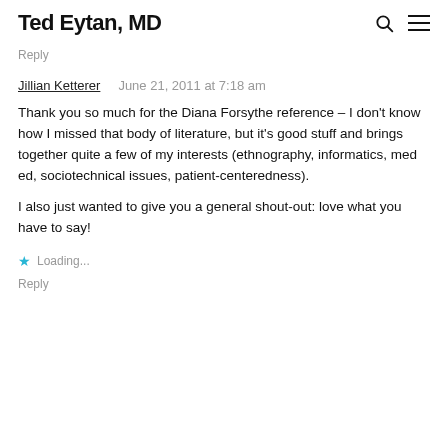Ted Eytan, MD
Reply
Jillian Ketterer    June 21, 2011 at 7:18 am
Thank you so much for the Diana Forsythe reference – I don't know how I missed that body of literature, but it's good stuff and brings together quite a few of my interests (ethnography, informatics, med ed, sociotechnical issues, patient-centeredness).
I also just wanted to give you a general shout-out: love what you have to say!
Loading...
Reply